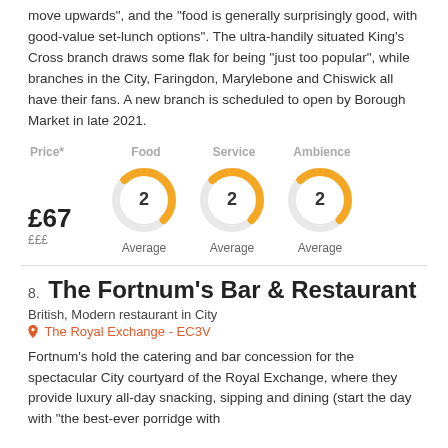move upwards", and the "food is generally surprisingly good, with good-value set-lunch options". The ultra-handily situated King's Cross branch draws some flak for being "just too popular", while branches in the City, Faringdon, Marylebone and Chiswick all have their fans. A new branch is scheduled to open by Borough Market in late 2021.
[Figure (infographic): Rating display showing Price £67 / £££, Food score 2 (Average), Service score 2 (Average), Ambience score 2 (Average) with donut chart indicators]
8. The Fortnum's Bar & Restaurant
British, Modern restaurant in City
The Royal Exchange - EC3V
Fortnum's hold the catering and bar concession for the spectacular City courtyard of the Royal Exchange, where they provide luxury all-day snacking, sipping and dining (start the day with "the best-ever porridge with